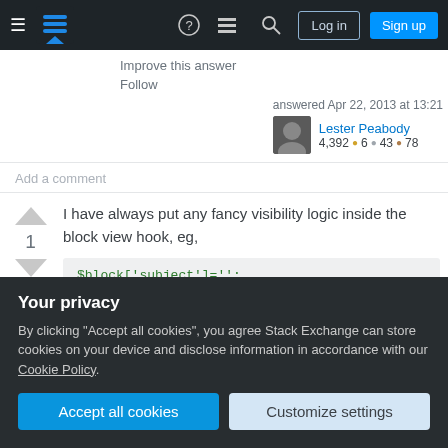Stack Exchange navigation bar with Log in and Sign up buttons
Improve this answer
Follow
answered Apr 22, 2013 at 13:21
Lester Peabody 4,392 ● 6 ● 43 ●78
Add a comment
I have always put any fancy visibility logic inside the block view hook, eg,
$block['subject']='';
Your privacy
By clicking "Accept all cookies", you agree Stack Exchange can store cookies on your device and disclose information in accordance with our Cookie Policy.
Accept all cookies
Customize settings